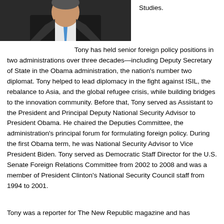[Figure (photo): Portrait photo of a man in a suit with a blue tie against a dark background]
Studies.
Tony has held senior foreign policy positions in two administrations over three decades—including Deputy Secretary of State in the Obama administration, the nation's number two diplomat. Tony helped to lead diplomacy in the fight against ISIL, the rebalance to Asia, and the global refugee crisis, while building bridges to the innovation community. Before that, Tony served as Assistant to the President and Principal Deputy National Security Advisor to President Obama. He chaired the Deputies Committee, the administration's principal forum for formulating foreign policy. During the first Obama term, he was National Security Advisor to Vice President Biden. Tony served as Democratic Staff Director for the U.S. Senate Foreign Relations Committee from 2002 to 2008 and was a member of President Clinton's National Security Council staff from 1994 to 2001.
Tony was a reporter for The New Republic magazine and has